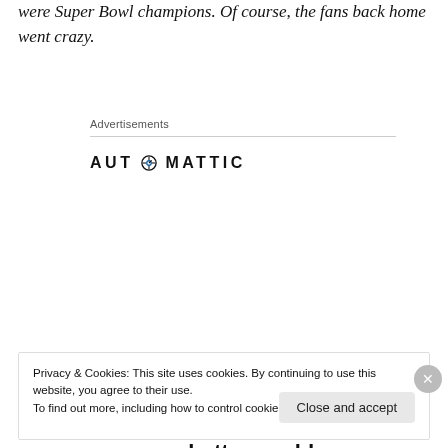were Super Bowl champions. Of course, the fans back home went crazy.
Advertisements
[Figure (logo): AUTOMATTIC logo with a compass/clock icon replacing the letter O]
[Figure (infographic): Automattic advertisement: 'Build a better web and a better world.' with an Apply button and a photo of a man thinking in a circular frame]
Privacy & Cookies: This site uses cookies. By continuing to use this website, you agree to their use.
To find out more, including how to control cookies, see here: Cookie Policy
Close and accept